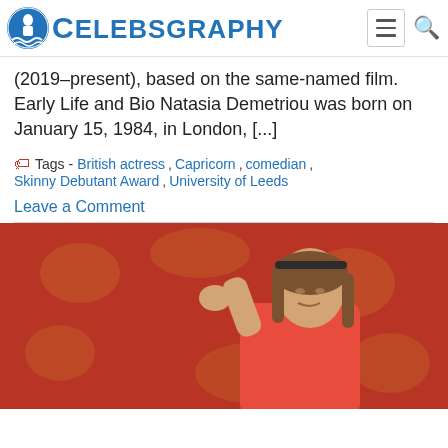CelebsGraphy
(2019–present), based on the same-named film. Early Life and Bio Natasia Demetriou was born on January 15, 1984, in London, [...]
Tags - British actress , Capricorn , comedian , Skinny Debutant Award , University of Leeds
Leave a Comment
[Figure (photo): Woman in red outfit with headband, posing with fist raised, against a red ornate wallpaper background]